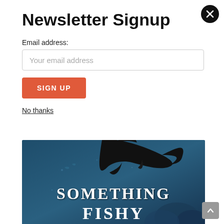Newsletter Signup
Email address:
Your email address
SIGN UP
No thanks
[Figure (illustration): Book cover image with dark blue underwater background, silhouette of a shark or fish, and white serif text reading 'SOMETHING FISHY']